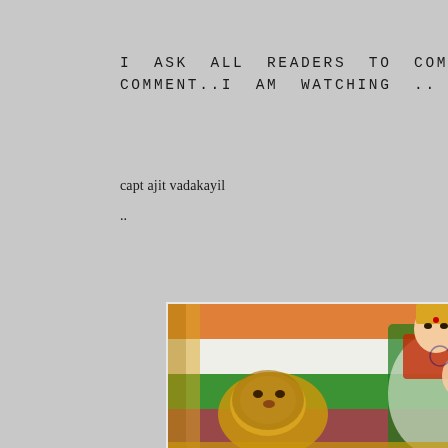I ASK ALL READERS TO COMMENT ON THIS COMMENT..I AM WATCHING ..
capt ajit vadakayil
..
[Figure (illustration): Illustration of Bharat Mata (Mother India) goddess figure in a green and white sari with gold jewelry and crown, holding a trident, with a lion beside her, and an Indian tricolor flag (saffron, white, green) in the background.]